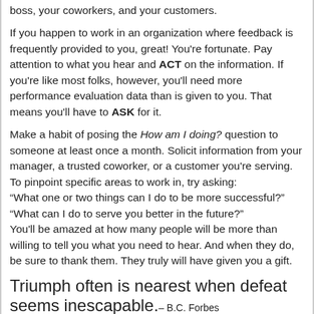boss, your coworkers, and your customers.
If you happen to work in an organization where feedback is frequently provided to you, great! You're fortunate. Pay attention to what you hear and ACT on the information. If you're like most folks, however, you'll need more performance evaluation data than is given to you. That means you'll have to ASK for it.
Make a habit of posing the How am I doing? question to someone at least once a month. Solicit information from your manager, a trusted coworker, or a customer you're serving. To pinpoint specific areas to work in, try asking: “What one or two things can I do to be more successful?” “What can I do to serve you better in the future?” You'll be amazed at how many people will be more than willing to tell you what you need to hear. And when they do, be sure to thank them. They truly will have given you a gift.
Triumph often is nearest when defeat seems inescapable.— B.C. Forbes
The human mind is the last great,